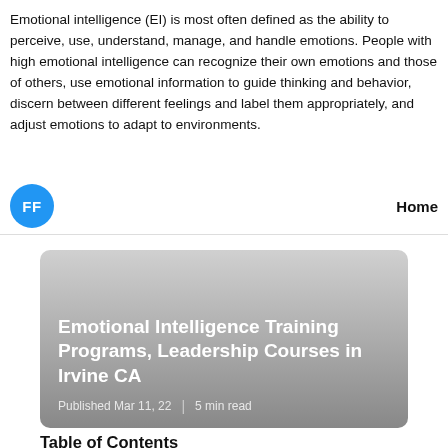Emotional intelligence (EI) is most often defined as the ability to perceive, use, understand, manage, and handle emotions. People with high emotional intelligence can recognize their own emotions and those of others, use emotional information to guide thinking and behavior, discern between different feelings and label them appropriately, and adjust emotions to adapt to environments.
FF | Home
[Figure (other): Article card with gradient background showing title 'Emotional Intelligence Training Programs, Leadership Courses in Irvine CA', published date 'Mar 11, 22' and '5 min read']
Emotional Intelligence Training Programs, Leadership Courses in Irvine CA
Published Mar 11, 22 | 5 min read
Table of Contents